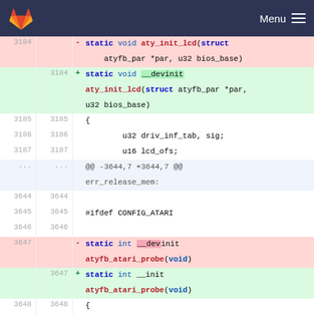GitLab Menu
Code diff showing changes to aty_init_lcd and atyfb_atari_probe function signatures, replacing __devinit with __init annotations in Linux kernel driver code.